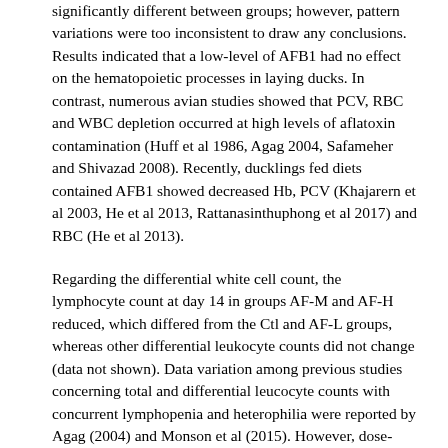significantly different between groups; however, pattern variations were too inconsistent to draw any conclusions. Results indicated that a low-level of AFB1 had no effect on the hematopoietic processes in laying ducks. In contrast, numerous avian studies showed that PCV, RBC and WBC depletion occurred at high levels of aflatoxin contamination (Huff et al 1986, Agag 2004, Safameher and Shivazad 2008). Recently, ducklings fed diets contained AFB1 showed decreased Hb, PCV (Khajarern et al 2003, He et al 2013, Rattanasinthuphong et al 2017) and RBC (He et al 2013).
Regarding the differential white cell count, the lymphocyte count at day 14 in groups AF-M and AF-H reduced, which differed from the Ctl and AF-L groups, whereas other differential leukocyte counts did not change (data not shown). Data variation among previous studies concerning total and differential leucocyte counts with concurrent lymphopenia and heterophilia were reported by Agag (2004) and Monson et al (2015). However, dose-related aflatoxicosis caused lymphocytopenia and impaired innate immune dynamics in poultry (Jewers 1990, Safamezer and Shivazad 2008, Chen et al 2014).